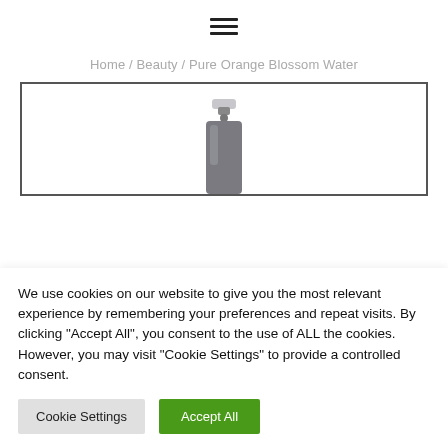[Figure (other): Hamburger menu icon with three horizontal lines centered at top of page]
Home / Beauty / Pure Orange Blossom Water
[Figure (photo): Product image showing the top of a spray bottle (Pure Orange Blossom Water) inside a bordered rectangular frame, partially visible, cut off at bottom]
We use cookies on our website to give you the most relevant experience by remembering your preferences and repeat visits. By clicking "Accept All", you consent to the use of ALL the cookies. However, you may visit "Cookie Settings" to provide a controlled consent.
Cookie Settings
Accept All